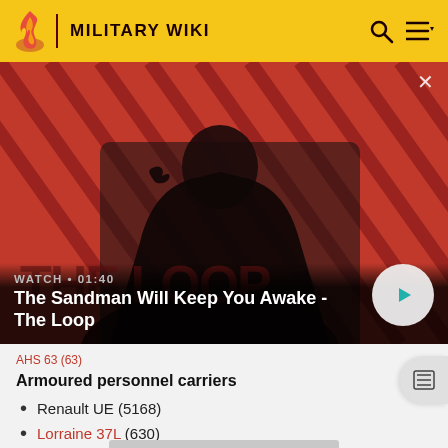MILITARY WIKI
[Figure (screenshot): Video banner showing The Sandman character with a crow on shoulder, against red diagonal stripe background. Text overlay: WATCH • 01:40, The Sandman Will Keep You Awake - The Loop. Play button on right.]
AHS 63 (63)
Armoured personnel carriers
Renault UE (5168)
Lorraine 37L (630)